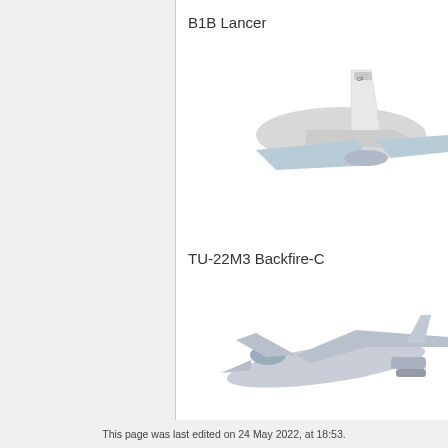B1B Lancer
[Figure (photo): Photograph of a B1B Lancer aircraft model, showing tail section and swept wings, white and grey coloring]
TU-22M3 Backfire-C
[Figure (photo): Photograph of a TU-22M3 Backfire-C aircraft model, showing cockpit nose section and variable sweep wings, light grey coloring]
This page was last edited on 24 May 2022, at 18:53.